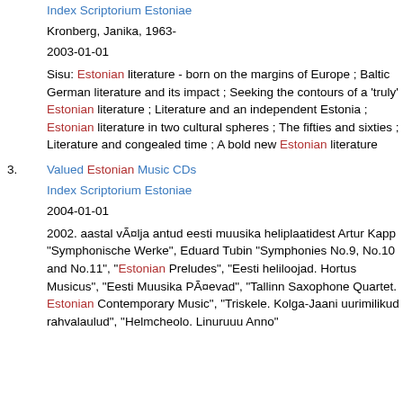Index Scriptorium Estoniae
Kronberg, Janika, 1963-
2003-01-01
Sisu: Estonian literature - born on the margins of Europe ; Baltic German literature and its impact ; Seeking the contours of a 'truly' Estonian literature ; Literature and an independent Estonia ; Estonian literature in two cultural spheres ; The fifties and sixties ; Literature and congealed time ; A bold new Estonian literature
3. Valued Estonian Music CDs
Index Scriptorium Estoniae
2004-01-01
2002. aastal välja antud eesti muusika heliplaatidest Artur Kapp "Symphonische Werke", Eduard Tubin "Symphonies No.9, No.10 and No.11", "Estonian Preludes", "Eesti heliloojad. Hortus Musicus", "Eesti Muusika Päevad", "Tallinn Saxophone Quartet. Estonian Contemporary Music", "Triskele. Kolga-Jaani uurimilikud rahvalaulud", "Helmcheolo. Linuruuu Anno"